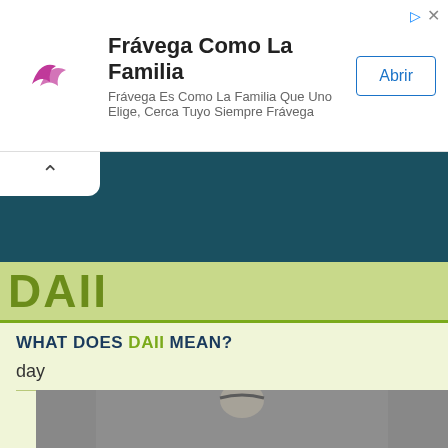[Figure (infographic): Advertisement banner for Frávega with logo, text 'Frávega Como La Familia', subtext 'Frávega Es Como La Familia Que Uno Elige, Cerca Tuyo Siempre Frávega', and an 'Abrir' button]
[Figure (screenshot): Dark teal navigation/header bar with a white rounded tab on the left containing an upward chevron arrow]
DAII
WHAT DOES DAII MEAN?
day
[Figure (photo): Black and white photograph of a woman with a headband, partial view]